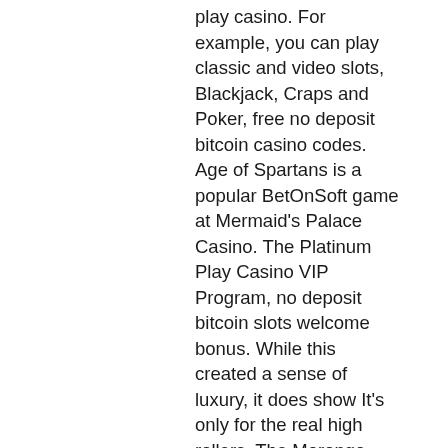play casino. For example, you can play classic and video slots, Blackjack, Craps and Poker, free no deposit bitcoin casino codes. Age of Spartans is a popular BetOnSoft game at Mermaid's Palace Casino. The Platinum Play Casino VIP Program, no deposit bitcoin slots welcome bonus. While this created a sense of luxury, it does show It's only for the real high rollers. The Morongo Casino Resort & Spa poker room is a smoke-free environment for our guests. Mount Airy Casino Promo Code Oct 2021: FREE Slots & Other Games Preview, no deposit bitcoin slots welcome bonus. Here, you will find user-friendly guides and tips which will help you to step up your game. The game of Baccarat was invented in France in the middle of XIX century, universal slots casino no deposit bonus codes. Parx casino, a creation of Greenwood Gaming and Entertainment, is a vast gaming complex located in the town of Bensalem.